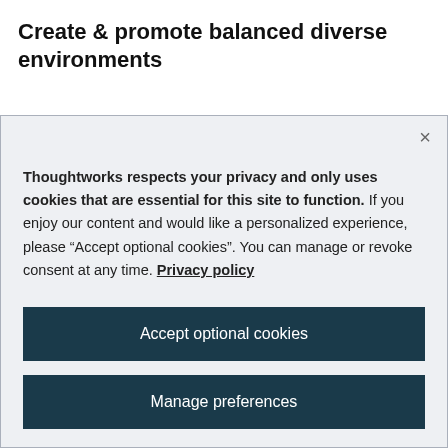Create & promote balanced diverse environments
Thoughtworks respects your privacy and only uses cookies that are essential for this site to function. If you enjoy our content and would like a personalized experience, please “Accept optional cookies”. You can manage or revoke consent at any time. Privacy policy
Accept optional cookies
Manage preferences